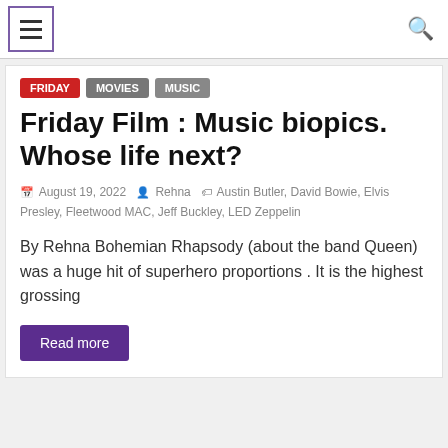☰  🔍
Friday  MOVIES  Music
Friday Film : Music biopics. Whose life next?
August 19, 2022  Rehna  Austin Butler, David Bowie, Elvis Presley, Fleetwood MAC, Jeff Buckley, LED Zeppelin
By Rehna Bohemian Rhapsody (about the band Queen) was a huge hit of superhero proportions . It is the highest grossing
Read more